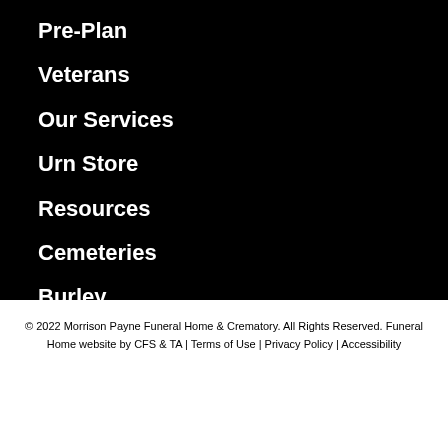Pre-Plan
Veterans
Our Services
Urn Store
Resources
Cemeteries
Burley
Oakley
© 2022 Morrison Payne Funeral Home & Crematory. All Rights Reserved. Funeral Home website by CFS & TA | Terms of Use | Privacy Policy | Accessibility